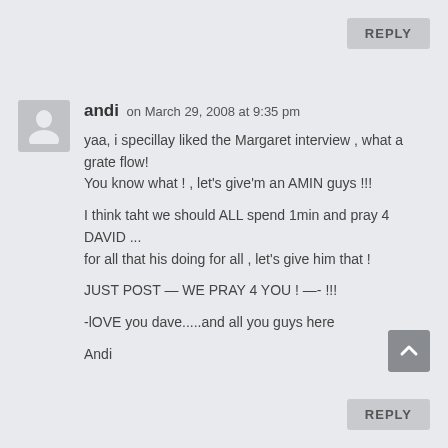REPLY
andi on March 29, 2008 at 9:35 pm
yaa, i specillay liked the Margaret interview , what a grate flow!
You know what ! , let's give'm an AMIN guys !!!

I think taht we should ALL spend 1min and pray 4 DAVID ... for all that his doing for all , let's give him that !

JUST POST — WE PRAY 4 YOU ! —- !!!

-lOVE you dave.....and all you guys here

Andi
REPLY